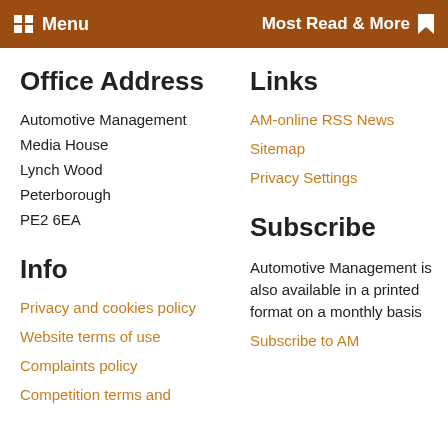Menu  Most Read & More
Office Address
Automotive Management
Media House
Lynch Wood
Peterborough
PE2 6EA
Links
AM-online RSS News
Sitemap
Privacy Settings
Info
Privacy and cookies policy
Website terms of use
Complaints policy
Competition terms and
Subscribe
Automotive Management is also available in a printed format on a monthly basis
Subscribe to AM